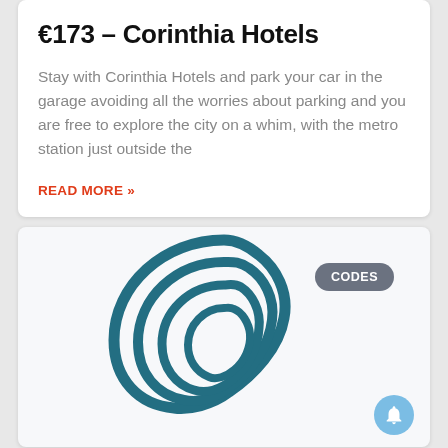€173 – Corinthia Hotels
Stay with Corinthia Hotels and park your car in the garage avoiding all the worries about parking and you are free to explore the city on a whim, with the metro station just outside the
READ MORE »
[Figure (logo): Teal/dark blue stylized shell or oyster logo mark for a hotel or travel brand, rendered as concentric irregular ring shapes.]